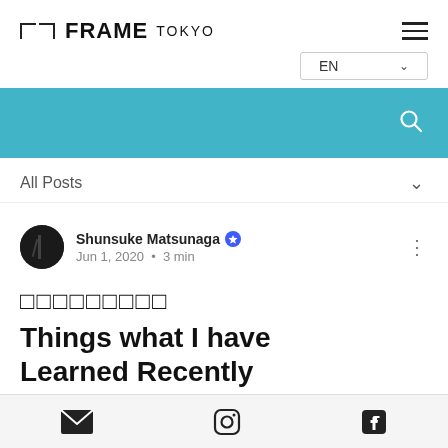[ ] FRAME TOKYO
EN
[Figure (screenshot): Teal/cyan search bar with a white search icon on the right]
All Posts
Shunsuke Matsunaga · Jun 1, 2020 · 3 min
□□□□□□□□□
Things what I have Learned Recently
Email · Instagram · Facebook icons